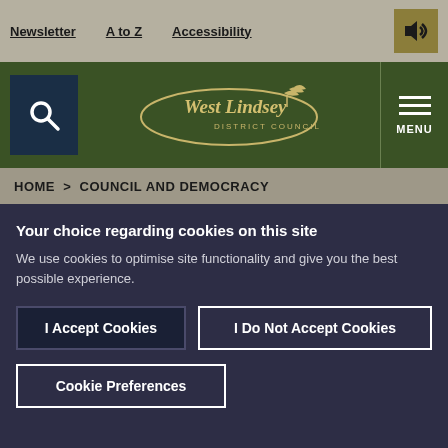Newsletter | A to Z | Accessibility
[Figure (logo): West Lindsey District Council logo with search icon and menu button on dark green background]
HOME > COUNCIL AND DEMOCRACY
Your choice regarding cookies on this site
We use cookies to optimise site functionality and give you the best possible experience.
I Accept Cookies | I Do Not Accept Cookies | Cookie Preferences